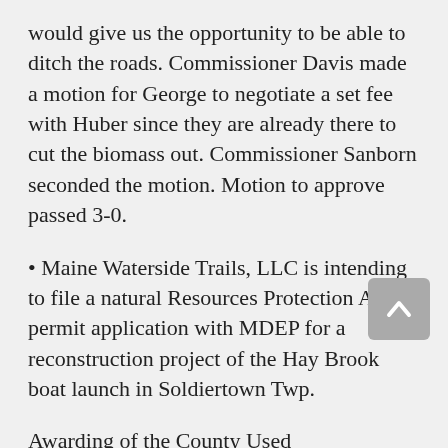would give us the opportunity to be able to ditch the roads. Commissioner Davis made a motion for George to negotiate a set fee with Huber since they are already there to cut the biomass out. Commissioner Sanborn seconded the motion. Motion to approve passed 3-0.
• Maine Waterside Trails, LLC is intending to file a natural Resources Protection Act permit application with MDEP for a reconstruction project of the Hay Brook boat launch in Soldiertown Twp.
Awarding of the County Used